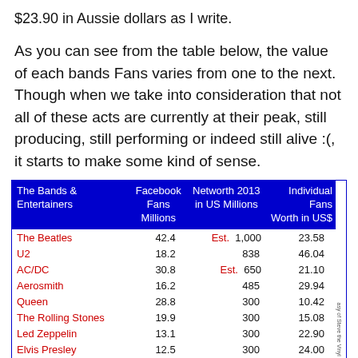$23.90 in Aussie dollars as I write.
As you can see from the table below, the value of each bands Fans varies from one to the next. Though when we take into consideration that not all of these acts are currently at their peak, still producing, still performing or indeed still alive :(, it starts to make some kind of sense.
| The Bands & Entertainers | Facebook Fans Millions | Networth 2013 in US Millions | Individual Fans Worth in US$ |
| --- | --- | --- | --- |
| The Beatles | 42.4 | Est. 1,000 | 23.58 |
| U2 | 18.2 | 838 | 46.04 |
| AC/DC | 30.8 | Est. 650 | 21.10 |
| Aerosmith | 16.2 | 485 | 29.94 |
| Queen | 28.8 | 300 | 10.42 |
| The Rolling Stones | 19.9 | 300 | 15.08 |
| Led Zeppelin | 13.1 | 300 | 22.90 |
| Elvis Presley | 12.5 | 300 | 24.00 |
| Pink Floyd | 30.1 | 250 | 8.31 |